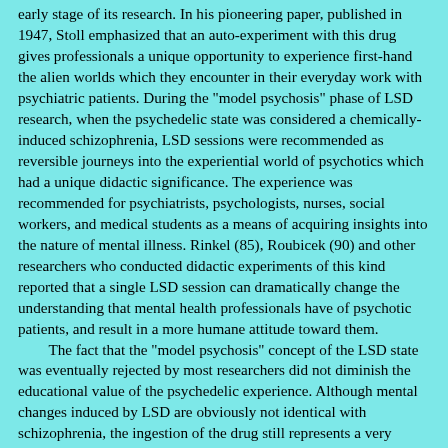early stage of its research. In his pioneering paper, published in 1947, Stoll emphasized that an auto-experiment with this drug gives professionals a unique opportunity to experience first-hand the alien worlds which they encounter in their everyday work with psychiatric patients. During the "model psychosis" phase of LSD research, when the psychedelic state was considered a chemically-induced schizophrenia, LSD sessions were recommended as reversible journeys into the experiential world of psychotics which had a unique didactic significance. The experience was recommended for psychiatrists, psychologists, nurses, social workers, and medical students as a means of acquiring insights into the nature of mental illness. Rinkel (85), Roubicek (90) and other researchers who conducted didactic experiments of this kind reported that a single LSD session can dramatically change the understanding that mental health professionals have of psychotic patients, and result in a more humane attitude toward them.
    The fact that the "model psychosis" concept of the LSD state was eventually rejected by most researchers did not diminish the educational value of the psychedelic experience. Although mental changes induced by LSD are obviously not identical with schizophrenia, the ingestion of the drug still represents a very special opportunity for